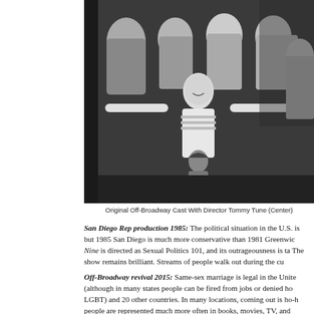[Figure (photo): Black and white group photo of the Original Off-Broadway Cast with Director Tommy Tune (Center), showing performers on stage with one person in the center with arms outstretched holding a doll]
Original Off-Broadway Cast With Director Tommy Tune (Center)
San Diego Rep production 1985: The political situation in the U.S. is but 1985 San Diego is much more conservative than 1981 Greenwic Nine is directed as Sexual Politics 101, and its outrageousness is ta The show remains brilliant. Streams of people walk out during the cu
Off-Broadway revival 2015: Same-sex marriage is legal in the Unite (although in many states people can be fired from jobs or denied ho LGBT) and 20 other countries. In many locations, coming out is ho-h people are represented much more often in books, movies, TV, and